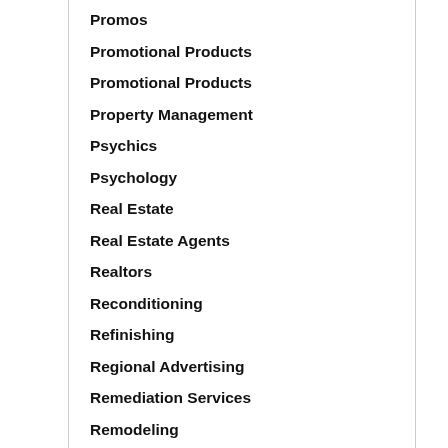Promos
Promotional Products
Promotional Products
Property Management
Psychics
Psychology
Real Estate
Real Estate Agents
Realtors
Reconditioning
Refinishing
Regional Advertising
Remediation Services
Remodeling
Removal Services